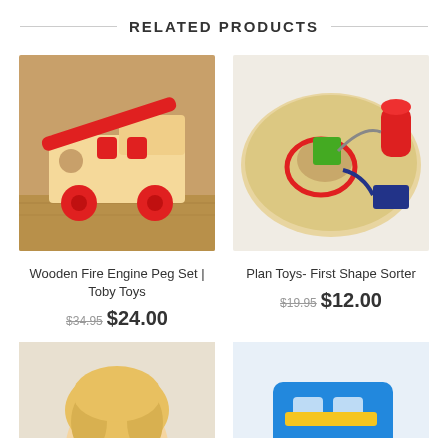RELATED PRODUCTS
[Figure (photo): Wooden fire engine toy with red wheels and red diagonal bar, on a wooden table surface]
Wooden Fire Engine Peg Set | Toby Toys
$34.95 $24.00
[Figure (photo): Plan Toys First Shape Sorter - wooden disc with colorful wire shapes including green square and red cylinder]
Plan Toys- First Shape Sorter
$19.95 $12.00
[Figure (photo): Partial view of a toddler with blonde hair, bottom of frame]
[Figure (photo): Partial view of a colorful blue toy, bottom right of frame]